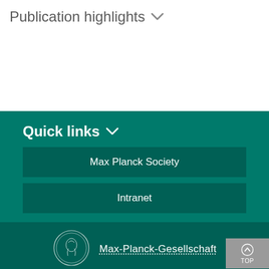Publication highlights ∨
Quick links ∨
Max Planck Society
Intranet
[Figure (logo): Max-Planck-Gesellschaft circular coin/medallion logo with classical profile of Minerva]
Max-Planck-Gesellschaft
Imprint
Data Protection Advice
© 2022, Max-Planck-Gesellschaft